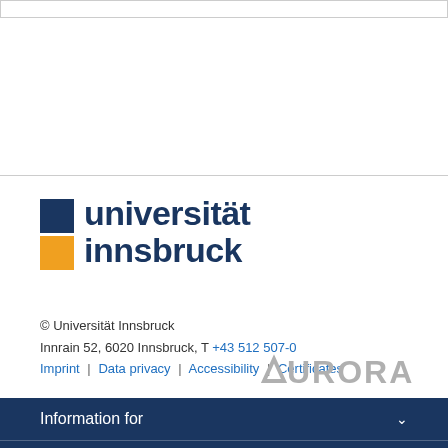[Figure (logo): Universität Innsbruck logo with dark blue and orange squares and text 'universität innsbruck' in dark blue]
© Universität Innsbruck
Innrain 52, 6020 Innsbruck, T +43 512 507-0
Imprint | Data privacy | Accessibility | Certificates
[Figure (logo): AURORA logo in grey with triangle symbol before the A]
Information for
About us